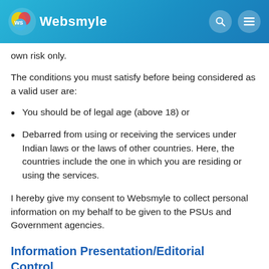Websmyle
own risk only.
The conditions you must satisfy before being considered as a valid user are:
You should be of legal age (above 18) or
Debarred from using or receiving the services under Indian laws or the laws of other countries. Here, the countries include the one in which you are residing or using the services.
I hereby give my consent to Websmyle to collect personal information on my behalf to be given to the PSUs and Government agencies.
Information Presentation/Editorial Control